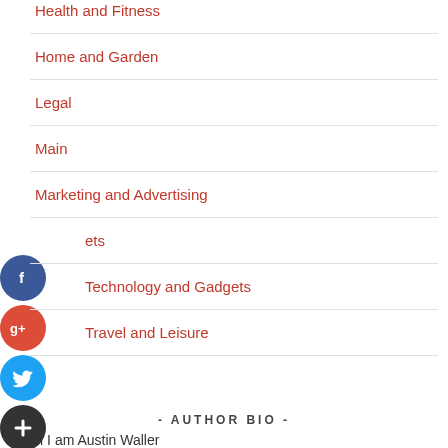Health and Fitness
Home and Garden
Legal
Main
Marketing and Advertising
ets
Technology and Gadgets
Travel and Leisure
- AUTHOR BIO -
Hi I am Austin Waller